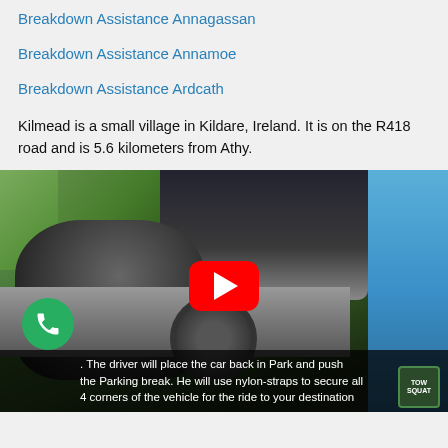Breakdown Assistance Annagassan
Breakdown Assistance Annamoe
Breakdown Assistance Ardcath
Kilmead is a small village in Kildare, Ireland. It is on the R418 road and is 5.6 kilometers from Athy.
[Figure (screenshot): Video thumbnail showing a mechanic/tow truck operator working underneath a vehicle, with a YouTube play button overlay. A phone call button (green circle with phone icon) is visible in the bottom-left. Subtitle text reads: '. The driver will place the car back in Park and push the Parking break. He will use nylon-straps to secure all 4 corners of the vehicle for the ride to your destination']